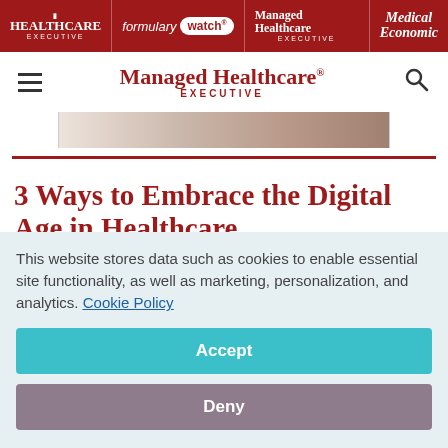HEALTHCARE EXECUTIVE | formulary watch | Managed Healthcare EXECUTIVE | Medical Economics
[Figure (logo): Managed Healthcare Executive site logo with hamburger menu and search icon]
[Figure (photo): Partial article header image showing hands on a desk]
3 Ways to Embrace the Digital Age in Healthcare
This website stores data such as cookies to enable essential site functionality, as well as marketing, personalization, and analytics. Cookie Policy
Accept
Deny